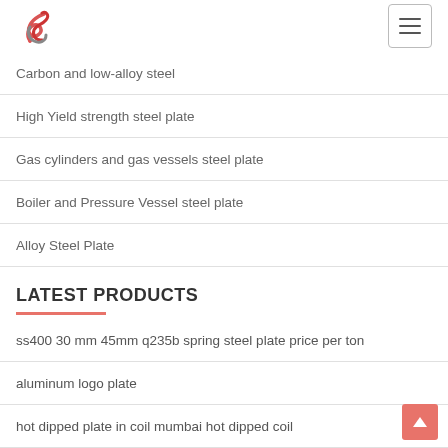Logo and navigation menu button
Carbon and low-alloy steel
High Yield strength steel plate
Gas cylinders and gas vessels steel plate
Boiler and Pressure Vessel steel plate
Alloy Steel Plate
LATEST PRODUCTS
ss400 30 mm 45mm q235b spring steel plate price per ton
aluminum logo plate
hot dipped plate in coil mumbai hot dipped coil